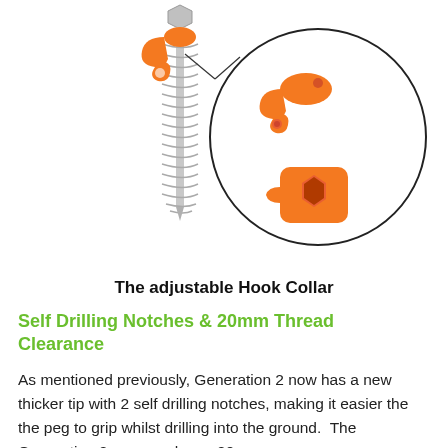[Figure (illustration): An orange adjustable hook collar on a metal corkscrew ground peg, with a magnified circle inset showing two views of the orange hook collar component — a side view showing the hook shape and a bottom view showing the hexagonal socket.]
The adjustable Hook Collar
Self Drilling Notches & 20mm Thread Clearance
As mentioned previously, Generation 2 now has a new thicker tip with 2 self drilling notches, making it easier the the peg to grip whilst drilling into the ground.  The Generation 2 peg now has a 20mm